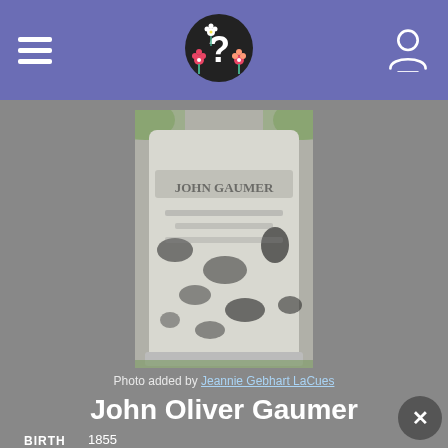Navigation header with hamburger menu, logo, and user icon
[Figure (photo): Black and white photograph of a worn gravestone with partially legible text, set outdoors against green foliage background]
Photo added by Jeannie Gebhart LaCues
John Oliver Gaumer
BIRTH 1855 Adamsville, Muskingum County, Ohio, USA
DEATH 5 Oct 1858 (aged 2-3)